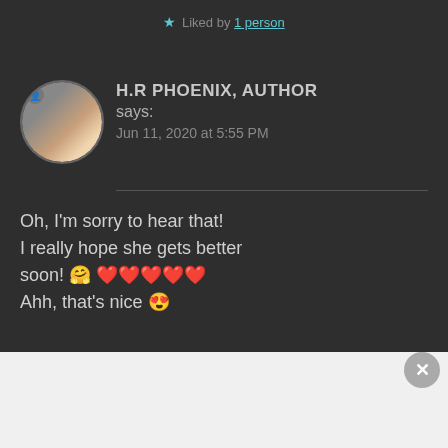★ Liked by 1 person
H.R PHOENIX, AUTHOR says:
Jun 11, 2020 at 5:55 PM
Oh, I'm sorry to hear that! I really hope she gets better soon! 🤗 ❤️❤️❤️❤️❤️ Ahh, that's nice 😍
★ Liked by 1 person
Advertisements
[Figure (screenshot): DayOne journaling app advertisement banner with logo and tagline 'The only journaling app you'll ever need.']